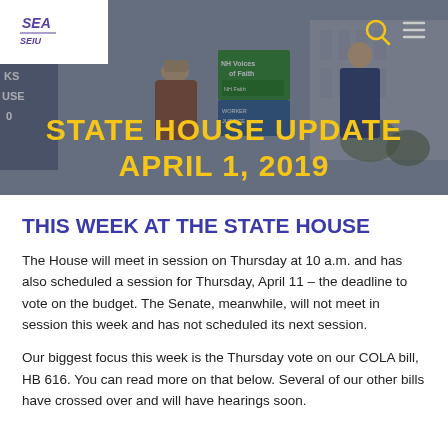[Figure (photo): Hero banner showing protesters holding signs including 'NH Voices of Faith' and 'Worker Justice' at a rally, with overlay text 'State House Update April 1, 2019'. SEIU logo in top-left corner. Search and menu icons in top-right.]
THIS WEEK AT THE STATE HOUSE
The House will meet in session on Thursday at 10 a.m. and has also scheduled a session for Thursday, April 11 – the deadline to vote on the budget. The Senate, meanwhile, will not meet in session this week and has not scheduled its next session.
Our biggest focus this week is the Thursday vote on our COLA bill, HB 616. You can read more on that below. Several of our other bills have crossed over and will have hearings soon.